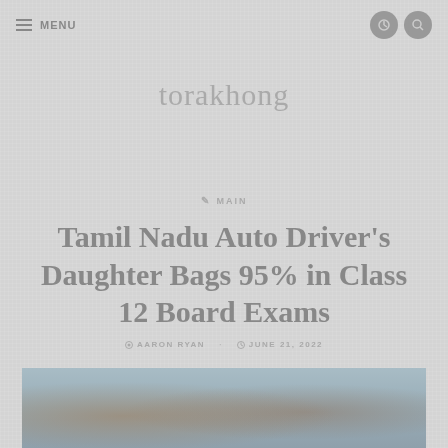MENU
torakhong
MAIN
Tamil Nadu Auto Driver's Daughter Bags 95% in Class 12 Board Exams
AARON RYAN · JUNE 21, 2022
[Figure (photo): Photo of Tamil Nadu auto driver and daughter who scored 95% in Class 12 Board Exams]